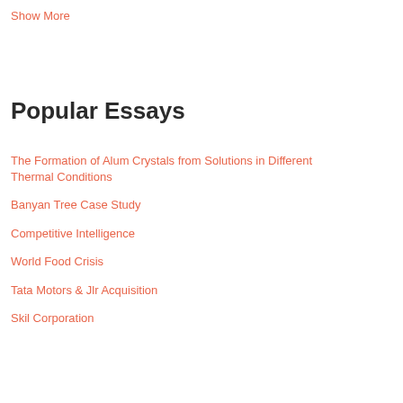Show More
Popular Essays
The Formation of Alum Crystals from Solutions in Different Thermal Conditions
Banyan Tree Case Study
Competitive Intelligence
World Food Crisis
Tata Motors & Jlr Acquisition
Skil Corporation